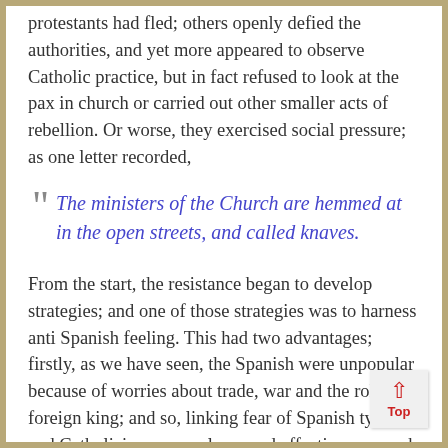protestants had fled; others openly defied the authorities, and yet more appeared to observe Catholic practice, but in fact refused to look at the pax in church or carried out other smaller acts of rebellion. Or worse, they exercised social pressure; as one letter recorded,
The ministers of the Church are hemmed at in the open streets, and called knaves.
From the start, the resistance began to develop strategies; and one of those strategies was to harness anti Spanish feeling. This had two advantages; firstly, as we have seen, the Spanish were unpopular because of worries about trade, war and the role of a foreign king; and so, linking fear of Spanish tyranny and Catholicism was a clever and effective approach to garner popular